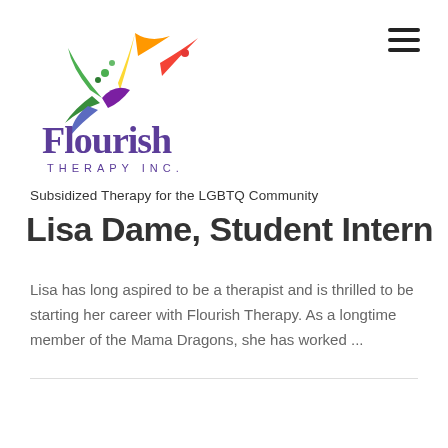[Figure (logo): Flourish Therapy Inc. logo with colorful splash graphic above stylized text]
Subsidized Therapy for the LGBTQ Community
Lisa Dame, Student Intern
Lisa has long aspired to be a therapist and is thrilled to be starting her career with Flourish Therapy. As a longtime member of the Mama Dragons, she has worked ...